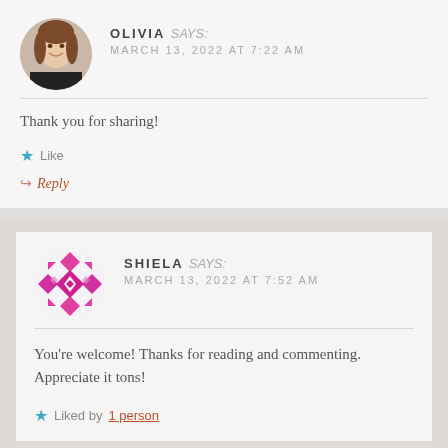[Figure (photo): Circular avatar photo of Olivia, a woman with dark hair wearing a black top]
OLIVIA says: MARCH 13, 2022 AT 7:22 AM
Thank you for sharing!
Like
Reply
[Figure (illustration): Circular avatar with pink and purple geometric diamond/cross pattern for Shiela]
SHIELA says: MARCH 13, 2022 AT 7:52 AM
You're welcome! Thanks for reading and commenting. Appreciate it tons!
Liked by 1 person